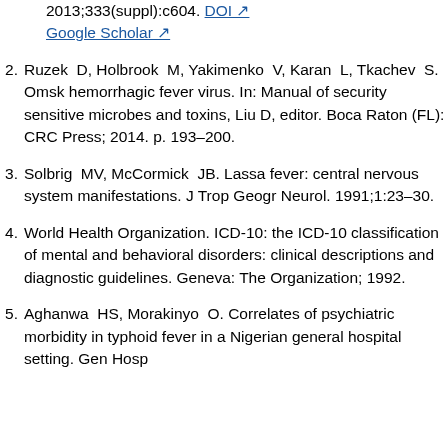[continued] 2013;333(suppl):c604. DOI Google Scholar
2. Ruzek D, Holbrook M, Yakimenko V, Karan L, Tkachev S. Omsk hemorrhagic fever virus. In: Manual of security sensitive microbes and toxins, Liu D, editor. Boca Raton (FL): CRC Press; 2014. p. 193–200.
3. Solbrig MV, McCormick JB. Lassa fever: central nervous system manifestations. J Trop Geogr Neurol. 1991;1:23–30.
4. World Health Organization. ICD-10: the ICD-10 classification of mental and behavioral disorders: clinical descriptions and diagnostic guidelines. Geneva: The Organization; 1992.
5. Aghanwa HS, Morakinyo O. Correlates of psychiatric morbidity in typhoid fever in a Nigerian general hospital setting. Gen Hosp